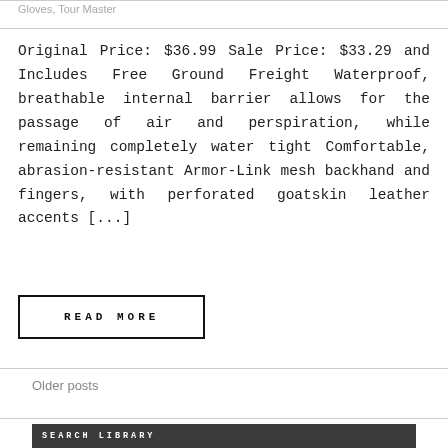Gloves, Tour Master
Original Price: $36.99 Sale Price: $33.29 and Includes Free Ground Freight Waterproof, breathable internal barrier allows for the passage of air and perspiration, while remaining completely water tight Comfortable, abrasion-resistant Armor-Link mesh backhand and fingers, with perforated goatskin leather accents [...]
READ MORE
Older posts
SEARCH LIBRARY